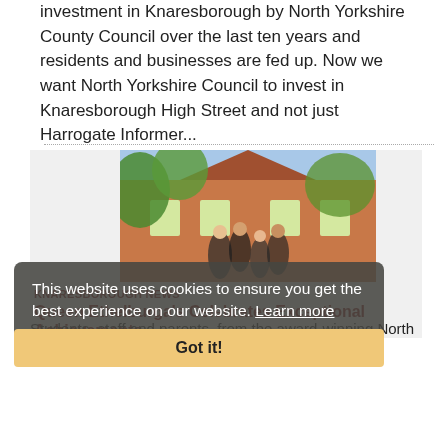investment in Knaresborough by North Yorkshire County Council over the last ten years and residents and businesses are fed up. Now we want North Yorkshire Council to invest in Knaresborough High Street and not just Harrogate Informer...
[Figure (photo): Students performing outdoors in front of a red brick ivy-covered building, Queen Ethelburga's school]
KNARESBOROUGH NEWS
Queen Ethelburga's Celebrates Exceptional Achievements
Students, staff and parents, from the award-winning North Yorkshire independent schools which make up
This website uses cookies to ensure you get the best experience on our website. Learn more
Got it!